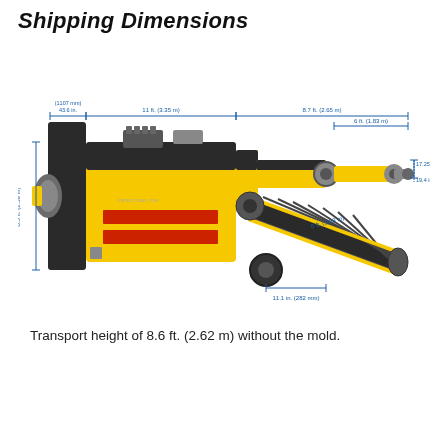Shipping Dimensions
[Figure (engineering-diagram): Top-view engineering diagram of a heavy industrial machine (likely a pipe laying or soil compaction machine) with dimension annotations. Dimensions shown: 43.6 in. (1107 mm) width at left end, 11 ft. (3.35 m) main body length, 8.7 ft. (2.65 m) right section length, 6 ft. (1.83 m) mid-right section, 8.5 ft. (2.59 m) height, 17.25 in. (438 mm) and 19.4 in. (493 mm) at right end heights, 6 ft. (1.83 m) diagonal conveyor length, 11.1 in. (282 mm) bottom right dimension. Machine is yellow with red accent markings. Blue dimension lines overlay the image.]
Transport height of 8.6 ft. (2.62 m) without the mold.